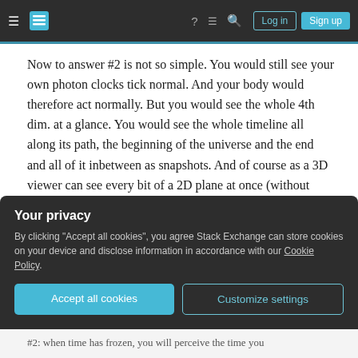Stack Exchange navigation bar with hamburger menu, logo, help, chat, search icons, Log in and Sign up buttons
Now to answer #2 is not so simple. You would still see your own photon clocks tick normal. And your body would therefore act normally. But you would see the whole 4th dim. at a glance. You would see the whole timeline all along its path, the beginning of the universe and the end and all of it inbetween as snapshots. And of course as a 3D viewer can see every bit of a 2D plane at once (without obstacle), you, now a 4D viewer would see every bit of the 3D world without obstacle, folded out, every 3D structure would be folded out so that without
Your privacy
By clicking "Accept all cookies", you agree Stack Exchange can store cookies on your device and disclose information in accordance with our Cookie Policy.
Accept all cookies   Customize settings
#2: when time has frozen, you will perceive the time you